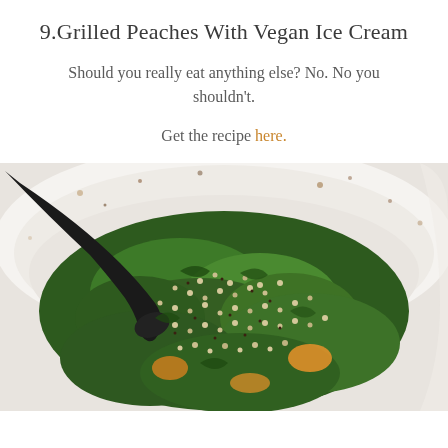9.Grilled Peaches With Vegan Ice Cream
Should you really eat anything else? No. No you shouldn't.
Get the recipe here.
[Figure (photo): Overhead view of a large white bowl containing a green salad with quinoa, leafy greens, orange pieces, with a black serving spoon, with dressing scattered around the bowl edges.]